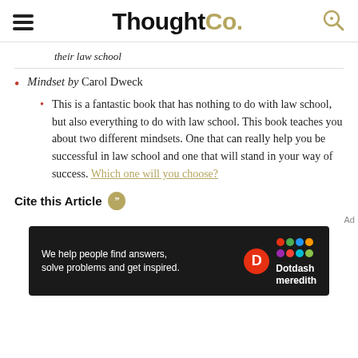ThoughtCo.
their law school
Mindset by Carol Dweck
This is a fantastic book that has nothing to do with law school, but also everything to do with law school. This book teaches you about two different mindsets. One that can really help you be successful in law school and one that will stand in your way of success. Which one will you choose?
Cite this Article
[Figure (infographic): Dotdash Meredith advertisement banner on black background reading 'We help people find answers, solve problems and get inspired.' with Dotdash Meredith logo.]